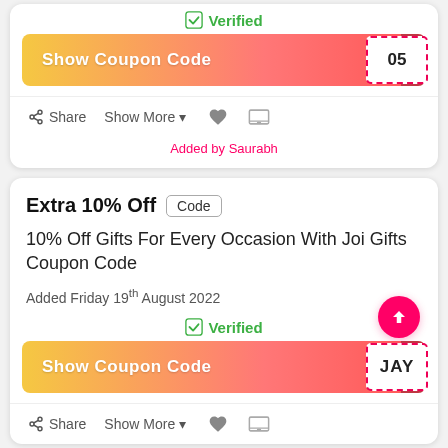[Figure (screenshot): Verified checkmark icon with green text 'Verified']
[Figure (infographic): Show Coupon Code button with gradient orange-pink background and dashed code box showing '05']
Share   Show More ▼  ♥  ▣
Added by Saurabh
Extra 10% Off  Code
10% Off Gifts For Every Occasion With Joi Gifts Coupon Code
Added Friday 19th August 2022
[Figure (screenshot): Verified checkmark icon with green text 'Verified']
[Figure (infographic): Show Coupon Code button with gradient orange-pink background and dashed code box showing 'JAY']
Share   Show More ▼  ♥  ▣